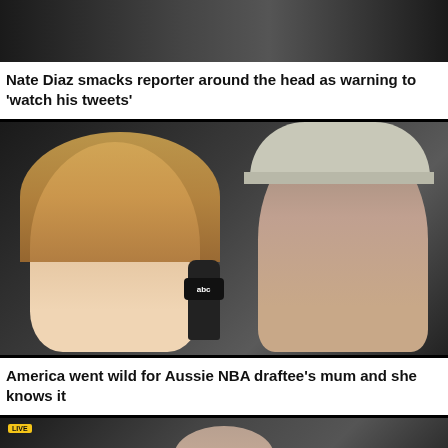[Figure (photo): Top of a photo showing dark background, partially cropped]
Nate Diaz smacks reporter around the head as warning to ‘watch his tweets’
[Figure (photo): A smiling blonde woman on the left and a young man wearing a grey New Era cap on the right, holding an ABC microphone, at what appears to be an NBA draft event]
America went wild for Aussie NBA draftee’s mum and she knows it
[Figure (photo): Partially visible photo with a LIVE badge in the top left corner, showing a person from behind/side against a dark background]